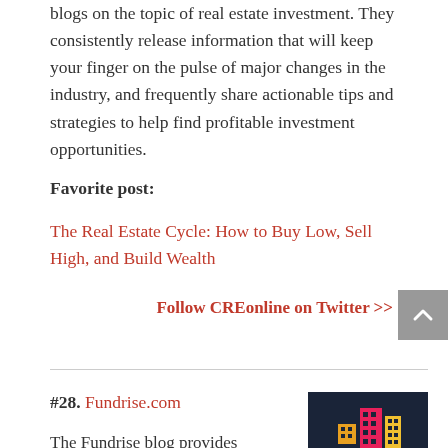blogs on the topic of real estate investment. They consistently release information that will keep your finger on the pulse of major changes in the industry, and frequently share actionable tips and strategies to help find profitable investment opportunities.
Favorite post:
The Real Estate Cycle: How to Buy Low, Sell High, and Build Wealth
Follow CREonline on Twitter >>
#28. Fundrise.com
The Fundrise blog provides
[Figure (illustration): Colorful illustrated building icons on a dark navy background representing Fundrise real estate platform]